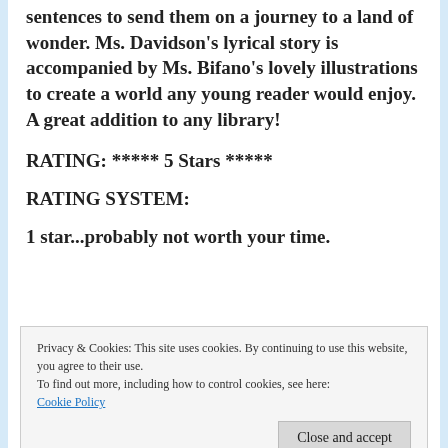sentences to send them on a journey to a land of wonder. Ms. Davidson's lyrical story is accompanied by Ms. Bifano's lovely illustrations to create a world any young reader would enjoy. A great addition to any library!
RATING: ***** 5 Stars *****
RATING SYSTEM:
1 star...probably not worth your time.
Privacy & Cookies: This site uses cookies. By continuing to use this website, you agree to their use.
To find out more, including how to control cookies, see here:
Cookie Policy
Close and accept